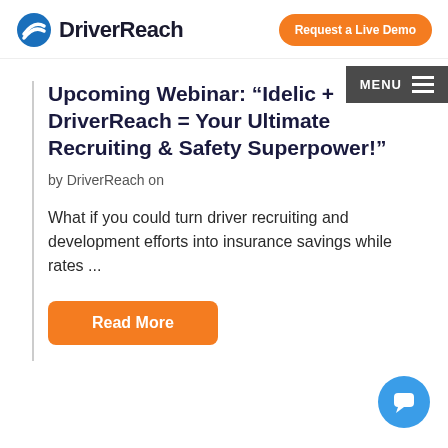DriverReach | Request a Live Demo
Upcoming Webinar: “Idelic + DriverReach = Your Ultimate Recruiting & Safety Superpower!”
by DriverReach on
What if you could turn driver recruiting and development efforts into insurance savings while rates ...
Read More